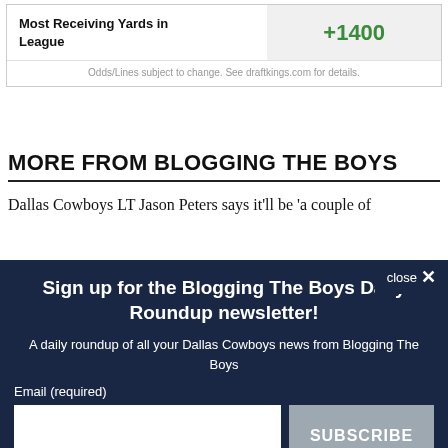|  |  |
| --- | --- |
| Most Receiving Yards in League | +1400 |
Odds/Lines subject to change. See draftkings.com for details.
MORE FROM BLOGGING THE BOYS
Dallas Cowboys LT Jason Peters says it'll be 'a couple of
Sign up for the Blogging The Boys Daily Roundup newsletter!
A daily roundup of all your Dallas Cowboys news from Blogging The Boys
Email (required)
SUBSCRIBE
By submitting your email, you agree to our Terms and Privacy Notice. You can opt out at any time. This site is protected by reCAPTCHA and the Google Privacy Policy and Terms of Service apply.